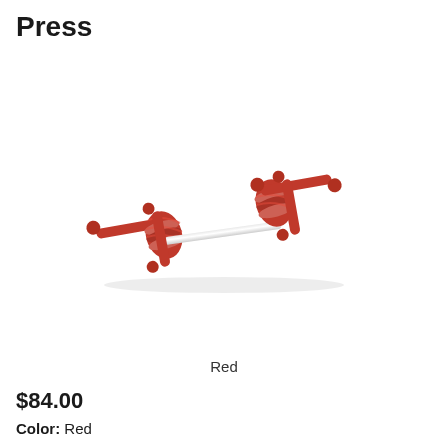Press
[Figure (photo): A red anodized aluminum two-piece bearing press tool with T-bar handles connected by a clear/silver threaded rod, shown on a white background.]
Red
$84.00
Color:  Red